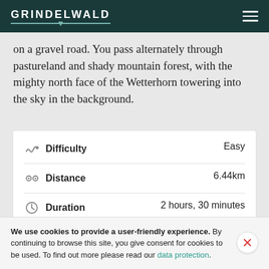GRINDELWALD
on a gravel road. You pass alternately through pastureland and shady mountain forest, with the mighty north face of the Wetterhorn towering into the sky in the background.
|  | Label | Value |
| --- | --- | --- |
| [icon] | Difficulty | Easy |
| [icon] | Distance | 6.44km |
| [icon] | Duration | 2 hours, 30 minutes |
| [icon] | Ascent | 480 vm |
We use cookies to provide a user-friendly experience. By continuing to browse this site, you give consent for cookies to be used. To find out more please read our data protection.